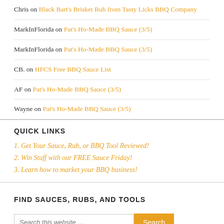Chris on Black Bart's Brisket Rub from Tasty Licks BBQ Company
MarkInFlorida on Pat's Ho-Made BBQ Sauce (3/5)
MarkInFlorida on Pat's Ho-Made BBQ Sauce (3/5)
CB. on HFCS Free BBQ Sauce List
AF on Pat's Ho-Made BBQ Sauce (3/5)
Wayne on Pat's Ho-Made BBQ Sauce (3/5)
QUICK LINKS
1. Get Your Sauce, Rub, or BBQ Tool Reviewed!
2. Win Stuff with our FREE Sauce Friday!
3. Learn how to market your BBQ business!
FIND SAUCES, RUBS, AND TOOLS
Search this website ...
RECENT REVIEWS